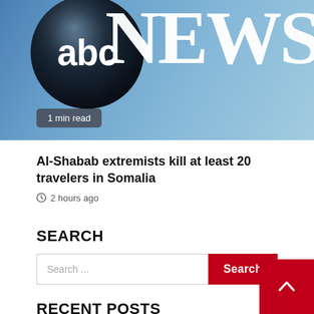[Figure (logo): ABC News logo banner — blue gradient background with abc globe logo on left and 'NEWS' text on right in white serif font. Badge at bottom left reads '1 min read'.]
Al-Shabab extremists kill at least 20 travelers in Somalia
2 hours ago
SEARCH
Search ...
RECENT POSTS